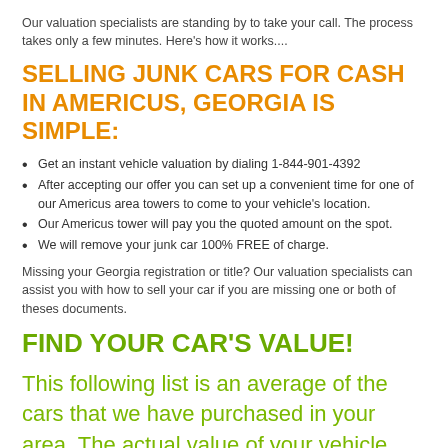Our valuation specialists are standing by to take your call. The process takes only a few minutes. Here's how it works....
SELLING JUNK CARS FOR CASH IN AMERICUS, GEORGIA IS SIMPLE:
Get an instant vehicle valuation by dialing 1-844-901-4392
After accepting our offer you can set up a convenient time for one of our Americus area towers to come to your vehicle's location.
Our Americus tower will pay you the quoted amount on the spot.
We will remove your junk car 100% FREE of charge.
Missing your Georgia registration or title? Our valuation specialists can assist you with how to sell your car if you are missing one or both of theses documents.
FIND YOUR CAR'S VALUE!
This following list is an average of the cars that we have purchased in your area. The actual value of your vehicle may be higher or lower than the average. Your car could